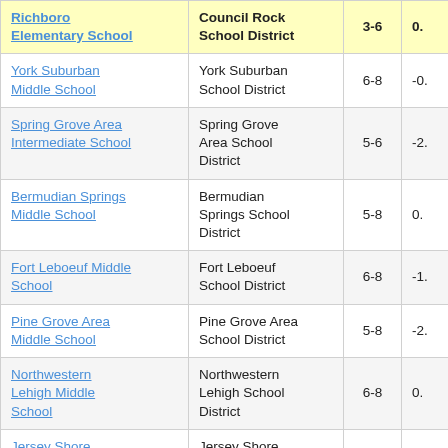| School | District | Grades | Value |
| --- | --- | --- | --- |
| Richboro Elementary School | Council Rock School District | 3-6 | 0. |
| York Suburban Middle School | York Suburban School District | 6-8 | -0. |
| Spring Grove Area Intermediate School | Spring Grove Area School District | 5-6 | -2. |
| Bermudian Springs Middle School | Bermudian Springs School District | 5-8 | 0. |
| Fort Leboeuf Middle School | Fort Leboeuf School District | 6-8 | -1. |
| Pine Grove Area Middle School | Pine Grove Area School District | 5-8 | -2. |
| Northwestern Lehigh Middle School | Northwestern Lehigh School District | 6-8 | 0. |
| Jersey Shore | Jersey Shore |  |  |